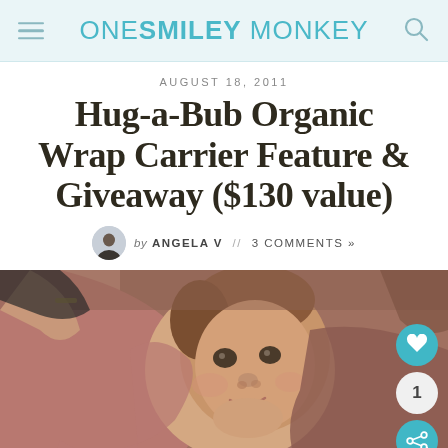ONE SMILEY MONKEY
AUGUST 18, 2011
Hug-a-Bub Organic Wrap Carrier Feature & Giveaway ($130 value)
by ANGELA V // 3 COMMENTS »
[Figure (photo): A baby with short reddish-brown hair looking at camera, nestled in a brown/mauve fabric wrap carrier against a mother's chest]